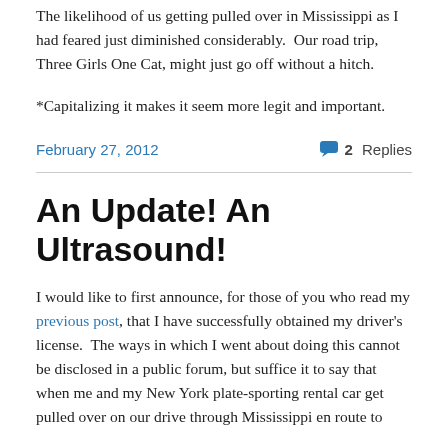The likelihood of us getting pulled over in Mississippi as I had feared just diminished considerably.  Our road trip, Three Girls One Cat, might just go off without a hitch.
*Capitalizing it makes it seem more legit and important.
February 27, 2012   2 Replies
An Update! An Ultrasound!
I would like to first announce, for those of you who read my previous post, that I have successfully obtained my driver's license.  The ways in which I went about doing this cannot be disclosed in a public forum, but suffice it to say that when me and my New York plate-sporting rental car get pulled over on our drive through Mississippi en route to